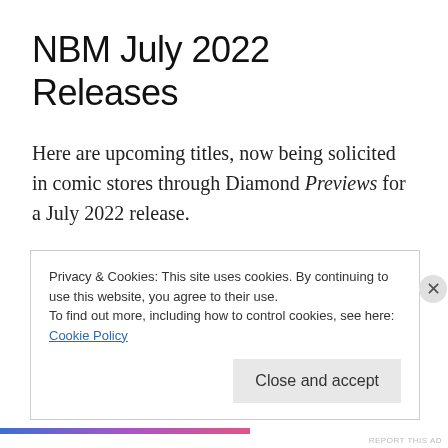NBM July 2022 Releases
Here are upcoming titles, now being solicited in comic stores through Diamond Previews for a July 2022 release.
NEW
Privacy & Cookies: This site uses cookies. By continuing to use this website, you agree to their use.
To find out more, including how to control cookies, see here:
Cookie Policy
Close and accept